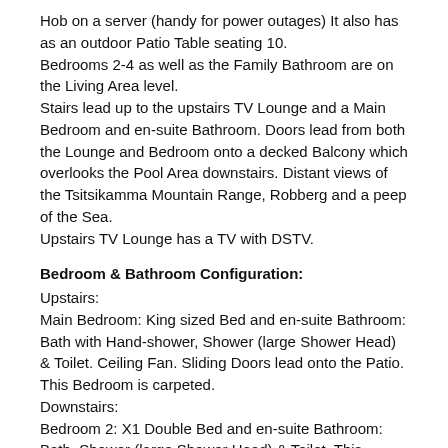Hob on a server (handy for power outages) It also has as an outdoor Patio Table seating 10.
Bedrooms 2-4 as well as the Family Bathroom are on the Living Area level.
Stairs lead up to the upstairs TV Lounge and a Main Bedroom and en-suite Bathroom. Doors lead from both the Lounge and Bedroom onto a decked Balcony which overlooks the Pool Area downstairs. Distant views of the Tsitsikamma Mountain Range, Robberg and a peep of the Sea.
Upstairs TV Lounge has a TV with DSTV.
Bedroom & Bathroom Configuration:
Upstairs:
Main Bedroom: King sized Bed and en-suite Bathroom: Bath with Hand-shower, Shower (large Shower Head) & Toilet. Ceiling Fan. Sliding Doors lead onto the Patio. This Bedroom is carpeted.
Downstairs:
Bedroom 2: X1 Double Bed and en-suite Bathroom: Bath, Shower (large Shower Head) & Toilet. This Bedroom is carpeted.
Bedroom 3: X2 Single Beds. This Bedroom is carpeted and has a portion of laminated flooring.
Bedroom 4: X1 Queen. This Bedroom is carpeted and has a portion of laminated flooring.